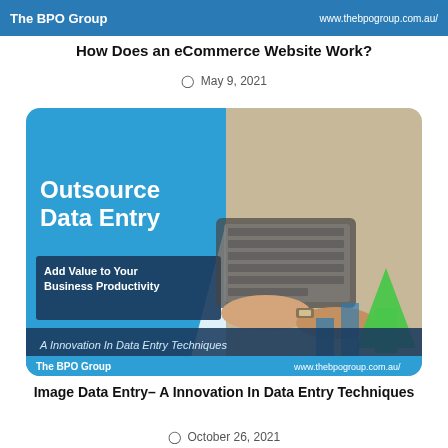The BPO Group | www.thebpogroup.com.au/
How Does an eCommerce Website Work?
May 9, 2021
[Figure (illustration): Outsource Data Entry – Add Value to Your Business Productivity. A Innovation In Data Entry Techniques. The BPO Group | www.thebpogroup.com.au/. Shows person typing on laptop with green upward arrow chart graphic.]
Image Data Entry– A Innovation In Data Entry Techniques
October 26, 2021